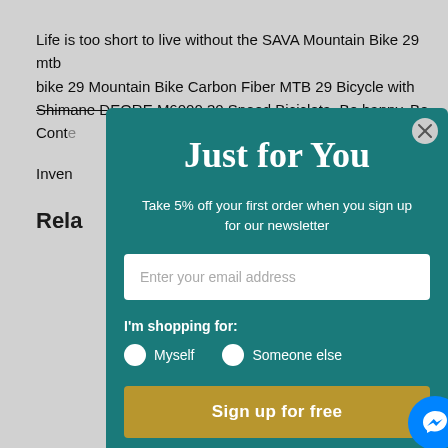Life is too short to live without the SAVA Mountain Bike 29 mtb bike 29 Mountain Bike Carbon Fiber MTB 29 Bicycle with Shimane DEORE M6000 30 Speed Bicicleta. Be happy. Be Conte
Inven
Rela
Just for You
Take 5% off your first order when you sign up for our newsletter
Enter your email address
I'm shopping for:
Myself
Someone else
Sign up for free